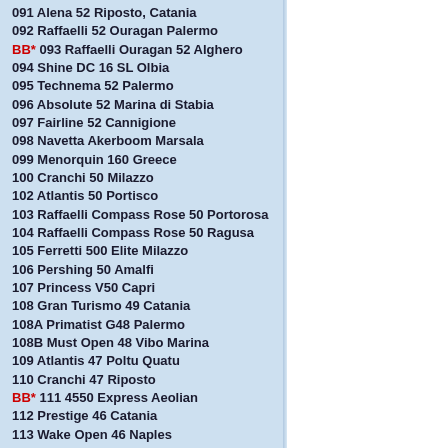091 Alena 52 Riposto, Catania
092 Raffaelli 52 Ouragan Palermo
BB* 093 Raffaelli Ouragan 52 Alghero
094 Shine DC 16 SL Olbia
095 Technema 52 Palermo
096 Absolute 52 Marina di Stabia
097 Fairline 52 Cannigione
098 Navetta Akerboom Marsala
099 Menorquin 160 Greece
100 Cranchi 50 Milazzo
102 Atlantis 50 Portisco
103 Raffaelli Compass Rose 50 Portorosa
104 Raffaelli Compass Rose 50 Ragusa
105 Ferretti 500 Elite Milazzo
106 Pershing 50 Amalfi
107 Princess V50 Capri
108 Gran Turismo 49 Catania
108A Primatist G48 Palermo
108B Must Open 48 Vibo Marina
109 Atlantis 47 Poltu Quatu
110 Cranchi 47 Riposto
BB* 111 4550 Express Aeolian
112 Prestige 46 Catania
113 Wake Open 46 Naples
114 Azimut 46 Ascoli Piceno
114A ...